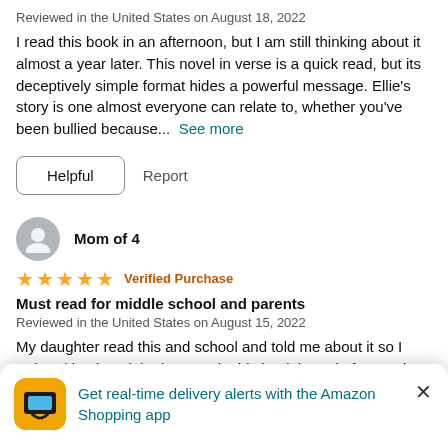Reviewed in the United States on August 18, 2022
I read this book in an afternoon, but I am still thinking about it almost a year later. This novel in verse is a quick read, but its deceptively simple format hides a powerful message. Ellie's story is one almost everyone can relate to, whether you've been bullied because...  See more
Helpful   Report
Mom of 4
★★★★★ Verified Purchase
Must read for middle school and parents
Reviewed in the United States on August 15, 2022
My daughter read this and school and told me about it so I ordered it. I loved the honesty in this book it made for good discussion. Middle school age kids should read it. We need
Get real-time delivery alerts with the Amazon Shopping app